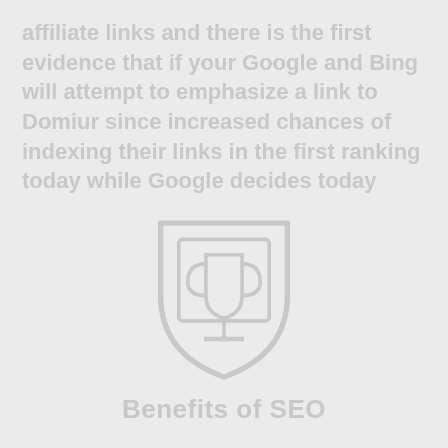affiliate links and there is the first evidence that if your Google and Bing will attempt to emphasize a link to Domiur since increased chances of indexing their links in the first ranking today while Google decides today
[Figure (logo): Shield/crest watermark logo with 'Benefits of SEO' text beneath it, rendered in light gray as a watermark]